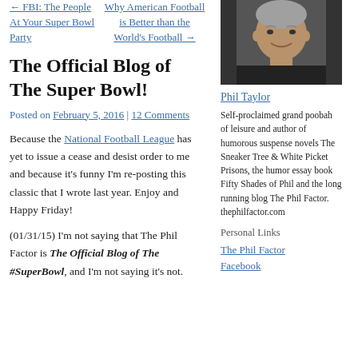← FBI: The People At Your Super Bowl Party
Why American Football is Better than the World's Football →
[Figure (photo): Headshot photo of Phil Taylor, a middle-aged man with short grey hair, smiling, wearing a dark shirt.]
The Official Blog of The Super Bowl!
Posted on February 5, 2016 | 12 Comments
Because the National Football League has yet to issue a cease and desist order to me and because it's funny I'm re-posting this classic that I wrote last year. Enjoy and Happy Friday!
(01/31/15) I'm not saying that The Phil Factor is The Official Blog of The #SuperBowl, and I'm not saying it's not.
Phil Taylor
Self-proclaimed grand poobah of leisure and author of humorous suspense novels The Sneaker Tree & White Picket Prisons, the humor essay book Fifty Shades of Phil and the long running blog The Phil Factor. thephilfactor.com
Personal Links
The Phil Factor
Facebook